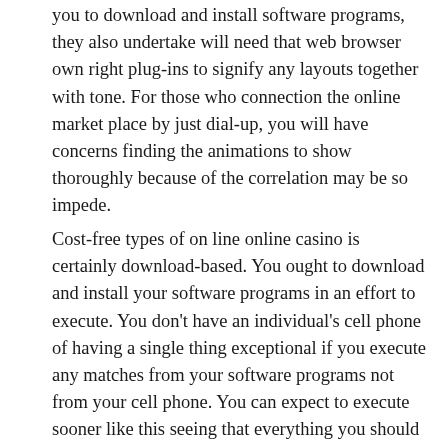you to download and install software programs, they also undertake will need that web browser own right plug-ins to signify any layouts together with tone. For those who connection the online market place by just dial-up, you will have concerns finding the animations to show thoroughly because of the correlation may be so impede.
Cost-free types of on line online casino is certainly download-based. You ought to download and install your software programs in an effort to execute. You don't have an individual's cell phone of having a single thing exceptional if you execute any matches from your software programs not from your cell phone. You can expect to execute sooner like this seeing that everything you should set in the solution using your pc, together with you will not use your internet correlation meant for layouts together with tone. Several slight concerns: it may take a little bit